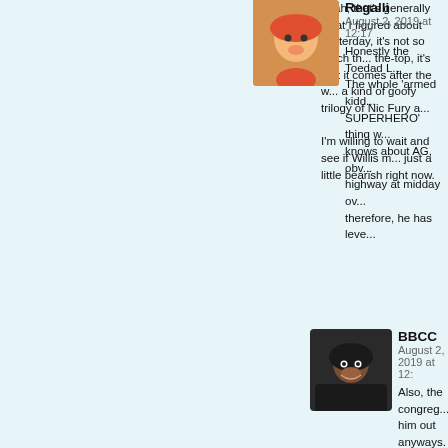Yeah, that's generally what I figured about yesterday, it's not so much the over-the-top, it's that it comes after the w... a kind of goofy trilogy of Nic Fury a...
I'm willing to wait and see if Willis m... just a little bearish right now.
Regalli
August 2, 2019 at 12:17
Honestly the Toedad L... The whole 'armed kid... SUPERHERO' thing w... knows about AG, obv... highway at midday ov... therefore, he has leve...
BBCC
August 2, 2019 at 12:
Also, the congrega... him out anyways.
Matthew Evan L...
August 2, 2019 at 1: